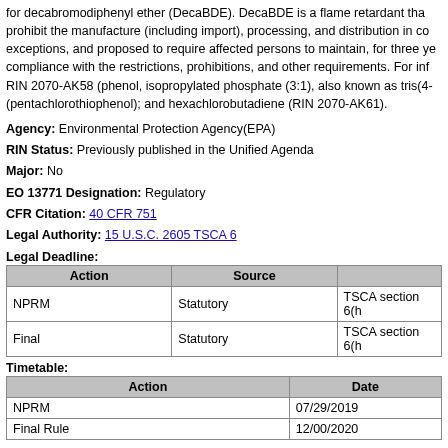for decabromodiphenyl ether (DecaBDE). DecaBDE is a flame retardant that prohibit the manufacture (including import), processing, and distribution in co exceptions, and proposed to require affected persons to maintain, for three ye compliance with the restrictions, prohibitions, and other requirements. For inf RIN 2070-AK58 (phenol, isopropylated phosphate (3:1), also known as tris(4- (pentachlorothiophenol); and hexachlorobutadiene (RIN 2070-AK61).
Agency: Environmental Protection Agency(EPA)
RIN Status: Previously published in the Unified Agenda
Major: No
EO 13771 Designation: Regulatory
CFR Citation: 40 CFR 751
Legal Authority: 15 U.S.C. 2605 TSCA 6
Legal Deadline:
| Action | Source |  |
| --- | --- | --- |
| NPRM | Statutory | TSCA section 6(h |
| Final | Statutory | TSCA section 6(h |
Timetable:
| Action | Date |
| --- | --- |
| NPRM | 07/29/2019 |
| Final Rule | 12/00/2020 |
Regulatory Flexibility Analysis Required: No
Small Entities Affected: No
Included in the Regulatory Plan: No
RIN Information URL: https://www.epa.gov/assessing-and-managing-chemi under-tsca/frank-r-lautenberg-chemical-safety-21st-century-act-0#pbt